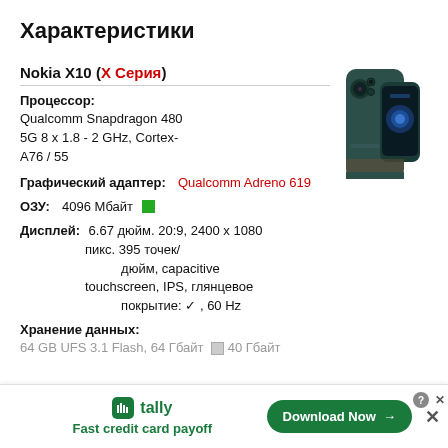Характеристики
Nokia X10 (Х Серия)
Процессор: Qualcomm Snapdragon 480 5G 8 x 1.8 - 2 GHz, Cortex-A76 / 55
Графический адаптер: Qualcomm Adreno 619
ОЗУ: 4096 Мбайт
Дисплей: 6.67 дюйм. 20:9, 2400 x 1080 пикс. 395 точек/дюйм, capacitive touchscreen, IPS, глянцевое покрытие: ✓, 60 Hz
Хранение данных:
64 GB UFS 3.1 Flash, 64 Гбайт □ 40 Гбайт
[Figure (photo): Nokia X10 smartphone shown from front and back, dark green color]
tally Fast credit card payoff Download Now →